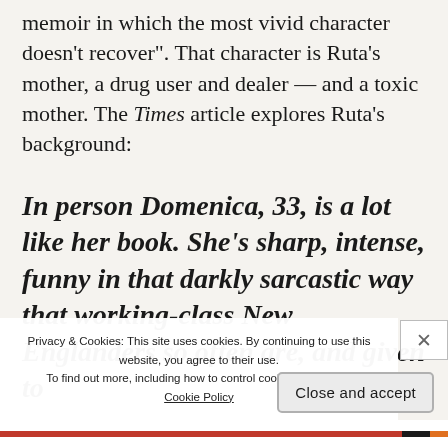memoir in which the most vivid character doesn't recover". That character is Ruta's mother, a drug user and dealer — and a toxic mother. The Times article explores Ruta's background:
In person Domenica, 33, is a lot like her book. She's sharp, intense, funny in that darkly sarcastic way that working-class New Englanders so often are, and given to
Privacy & Cookies: This site uses cookies. By continuing to use this website, you agree to their use. To find out more, including how to control cookies, see here: Cookie Policy